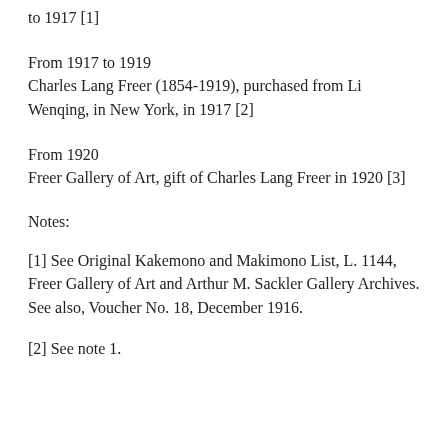to 1917 [1]
From 1917 to 1919
Charles Lang Freer (1854-1919), purchased from Li Wenqing, in New York, in 1917 [2]
From 1920
Freer Gallery of Art, gift of Charles Lang Freer in 1920 [3]
Notes:
[1] See Original Kakemono and Makimono List, L. 1144, Freer Gallery of Art and Arthur M. Sackler Gallery Archives. See also, Voucher No. 18, December 1916.
[2] See note 1.